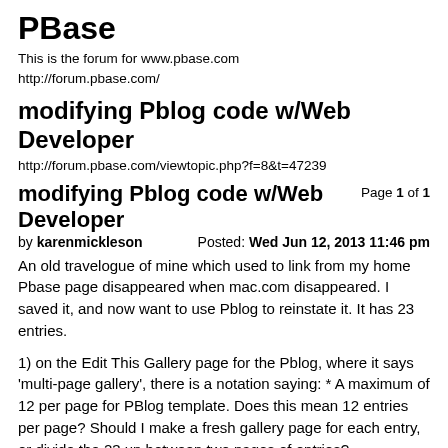PBase
This is the forum for www.pbase.com
http://forum.pbase.com/
modifying Pblog code w/Web Developer
http://forum.pbase.com/viewtopic.php?f=8&t=47239
modifying Pblog code w/Web Developer
Page 1 of 1
by karenmickleson
Posted: Wed Jun 12, 2013 11:46 pm
An old travelogue of mine which used to link from my home Pbase page disappeared when mac.com disappeared. I saved it, and now want to use Pblog to reinstate it. It has 23 entries.
1) on the Edit This Gallery page for the Pblog, where it says 'multi-page gallery', there is a notation saying: * A maximum of 12 per page for PBlog template. Does this mean 12 entries per page? Should I make a fresh gallery page for each entry, or divide the 23 up between two pages of entries?